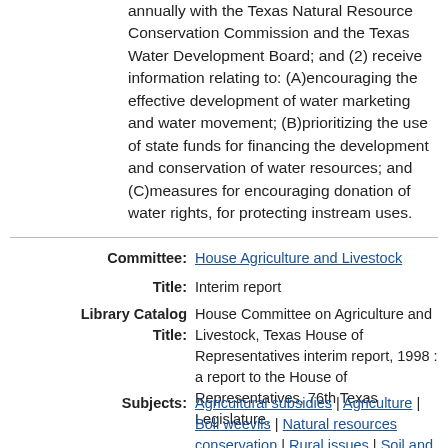The Committee shall: (1) meet at least annually with the Texas Natural Resource Conservation Commission and the Texas Water Development Board; and (2) receive information relating to: (A)encouraging the effective development of water marketing and water movement; (B)prioritizing the use of state funds for financing the development and conservation of water resources; and (C)measures for encouraging donation of water rights, for protecting instream uses.
Committee: House Agriculture and Livestock
Title: Interim report
Library Catalog Title: House Committee on Agriculture and Livestock, Texas House of Representatives interim report, 1998 : a report to the House of Representatives, 76th Texas Legislature.
Subjects: Agricultural subsidies | Agriculture | Boll weevils | Natural resources conservation | Rural issues | Soil and Water Conservation Board, Texas | Texas Boll Weevil Eradication Program | Water conservation |